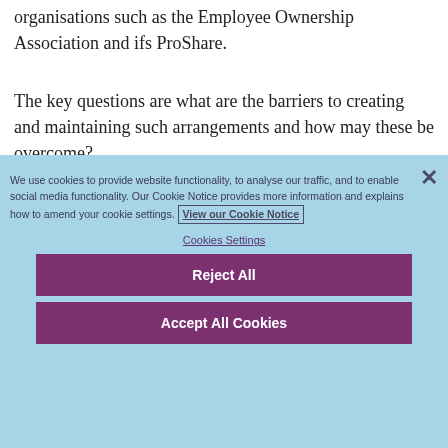organisations such as the Employee Ownership Association and ifs ProShare.
The key questions are what are the barriers to creating and maintaining such arrangements and how may these be overcome?
We use cookies to provide website functionality, to analyse our traffic, and to enable social media functionality. Our Cookie Notice provides more information and explains how to amend your cookie settings. View our Cookie Notice
Cookies Settings
Reject All
Accept All Cookies